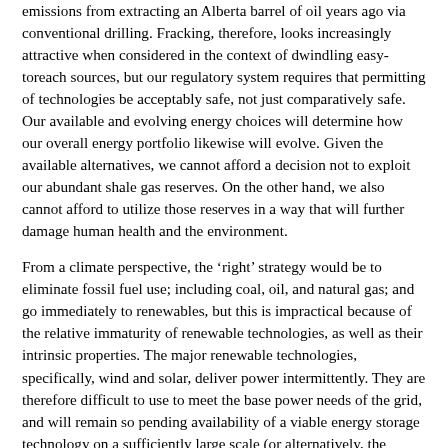emissions from extracting an Alberta barrel of oil years ago via conventional drilling. Fracking, therefore, looks increasingly attractive when considered in the context of dwindling easy-toreach sources, but our regulatory system requires that permitting of technologies be acceptably safe, not just comparatively safe. Our available and evolving energy choices will determine how our overall energy portfolio likewise will evolve. Given the available alternatives, we cannot afford a decision not to exploit our abundant shale gas reserves. On the other hand, we also cannot afford to utilize those reserves in a way that will further damage human health and the environment.
From a climate perspective, the ‘right’ strategy would be to eliminate fossil fuel use; including coal, oil, and natural gas; and go immediately to renewables, but this is impractical because of the relative immaturity of renewable technologies, as well as their intrinsic properties. The major renewable technologies, specifically, wind and solar, deliver power intermittently. They are therefore difficult to use to meet the base power needs of the grid, and will remain so pending availability of a viable energy storage technology on a sufficiently large scale (or alternatively, the development of a sufficiently interconnected smart grid that can effectively shuttle power to where it is needed on demand). In contrast, fossil fuels are abundant enough to last for a longer time than our planet’s ecosystems can survive their use.